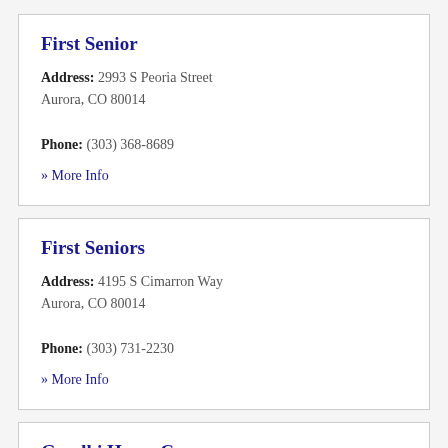First Senior
Address: 2993 S Peoria Street
Aurora, CO 80014
Phone: (303) 368-8689
» More Info
First Seniors
Address: 4195 S Cimarron Way
Aurora, CO 80014
Phone: (303) 731-2230
» More Info
Gandhi Home Care